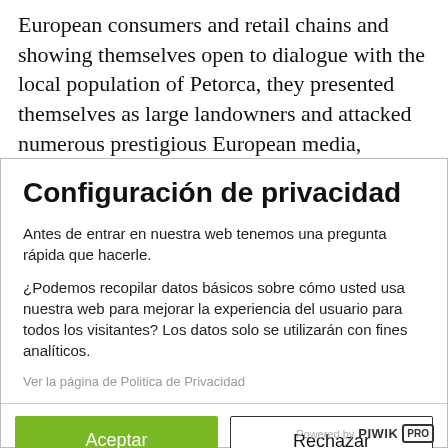European consumers and retail chains and showing themselves open to dialogue with the local population of Petorca, they presented themselves as large landowners and attacked numerous prestigious European media, labeling them liars without presenting any information to prove their
Configuración de privacidad
Antes de entrar en nuestra web tenemos una pregunta rápida que hacerle.
¿Podemos recopilar datos básicos sobre cómo usted usa nuestra web para mejorar la experiencia del usuario para todos los visitantes? Los datos solo se utilizarán con fines analíticos.
Ver la página de Politica de Privacidad
Aceptar
Rechazar
Powered by PIWIK PRO